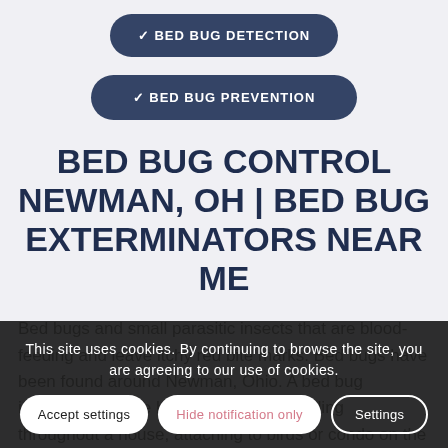✓ BED BUG DETECTION
✓ BED BUG PREVENTION
BED BUG CONTROL NEWMAN, OH | BED BUG EXTERMINATORS NEAR ME
Bed bugs and small parasitic insects that are blood-feeding and leave itchy red bite marks. Bed bugs have been found around Newman, Ohio. A bed bug infestation can be hard to control spreading throughout a house, attaching to birds or condo on the person who is sleeping. The bug pierces the
This site uses cookies. By continuing to browse the site, you are agreeing to our use of cookies.